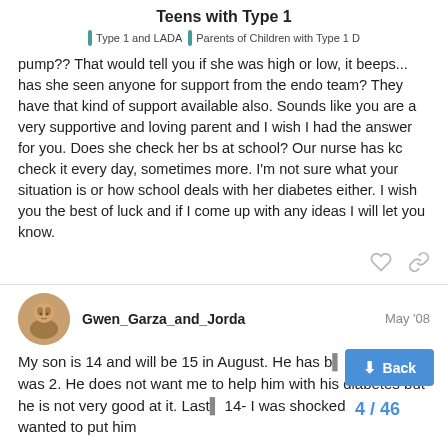Teens with Type 1
Type 1 and LADA | Parents of Children with Type 1 D
pump?? That would tell you if she was high or low, it beeps... has she seen anyone for support from the endo team? They have that kind of support available also. Sounds like you are a very supportive and loving parent and I wish I had the answer for you. Does she check her bs at school? Our nurse has kc check it every day, sometimes more. I'm not sure what your situation is or how school deals with her diabetes either. I wish you the best of luck and if I come up with any ideas I will let you know.
Gwen_Garza_and_Jorda — May '08
My son is 14 and will be 15 in August. He has b... tic since he was 2. He does not want me to help him with his diabetes but he is not very good at it. Last... 14- I was shocked. They wanted to put him
4 / 46